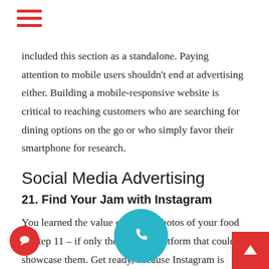☰ (hamburger menu)
included this section as a standalone. Paying attention to mobile users shouldn't end at advertising either. Building a mobile-responsive website is critical to reaching customers who are searching for dining options on the go or who simply favor their smartphone for research.
Social Media Advertising
21. Find Your Jam with Instagram
You learned the value of taking photos of your food in Step 11 – if only there was a platform that could showcase them. Get ready, because Instagram is going to blow your mind.